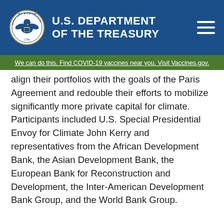U.S. DEPARTMENT OF THE TREASURY
We can do this. Find COVID-19 vaccines near you. Visit Vaccines.gov.
align their portfolios with the goals of the Paris Agreement and redouble their efforts to mobilize significantly more private capital for climate. Participants included U.S. Special Presidential Envoy for Climate John Kerry and representatives from the African Development Bank, the Asian Development Bank, the European Bank for Reconstruction and Development, the Inter-American Development Bank Group, and the World Bank Group.
Meeting participants explored ways for the MDBs to mobilize significantly more private-sector finance. Secretary Yellen urged the MDBs to evaluate internal